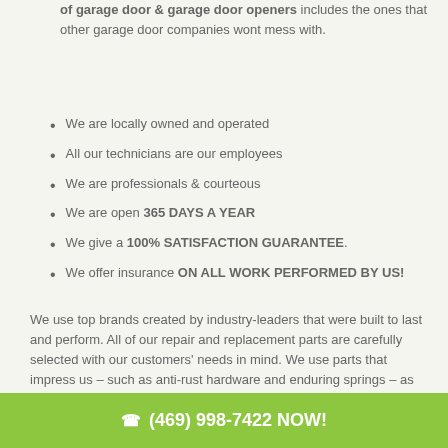of garage door & garage door openers includes the ones that other garage door companies wont mess with.
We are locally owned and operated
All our technicians are our employees
We are professionals & courteous
We are open 365 DAYS A YEAR
We give a 100% SATISFACTION GUARANTEE.
We offer insurance ON ALL WORK PERFORMED BY US!
We use top brands created by industry-leaders that were built to last and perform. All of our repair and replacement parts are carefully selected with our customers' needs in mind. We use parts that impress us – such as anti-rust hardware and enduring springs – as
(469) 998-7422 NOW!